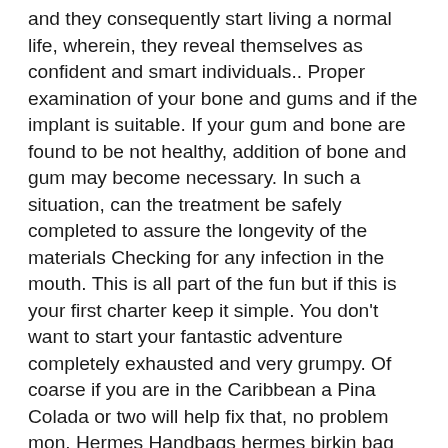and they consequently start living a normal life, wherein, they reveal themselves as confident and smart individuals.. Proper examination of your bone and gums and if the implant is suitable. If your gum and bone are found to be not healthy, addition of bone and gum may become necessary. In such a situation, can the treatment be safely completed to assure the longevity of the materials Checking for any infection in the mouth. This is all part of the fun but if this is your first charter keep it simple. You don't want to start your fantastic adventure completely exhausted and very grumpy. Of coarse if you are in the Caribbean a Pina Colada or two will help fix that, no problem mon. Hermes Handbags hermes birkin bag replica cheap
hermes kelly replica Replica Hermes Yes, we did appeal to them to climb down. But no persuasion could work. CBI has built its case on false premises that provocative